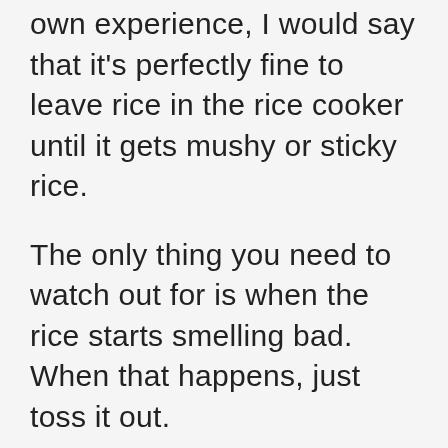own experience, I would say that it's perfectly fine to leave rice in the rice cooker until it gets mushy or sticky rice.

The only thing you need to watch out for is when the rice starts smelling bad. When that happens, just toss it out.